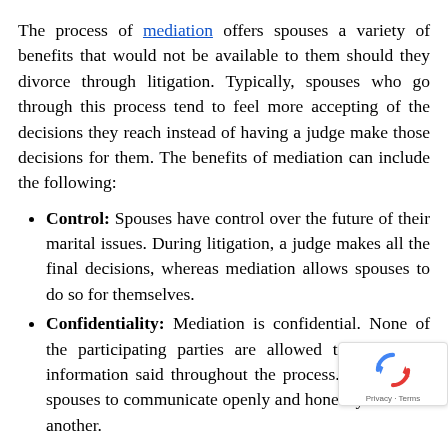The process of mediation offers spouses a variety of benefits that would not be available to them should they divorce through litigation. Typically, spouses who go through this process tend to feel more accepting of the decisions they reach instead of having a judge make those decisions for them. The benefits of mediation can include the following:
Control: Spouses have control over the future of their marital issues. During litigation, a judge makes all the final decisions, whereas mediation allows spouses to do so for themselves.
Confidentiality: Mediation is confidential. None of the participating parties are allowed to share any information said throughout the process. This allows spouses to communicate openly and honestly with one another.
Speed: This process is usually quicker than divorce methods, depending on the couple, and